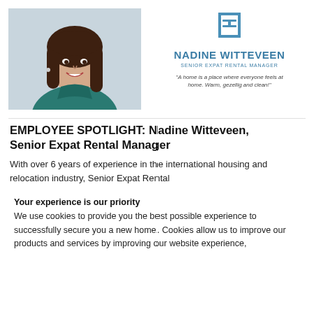[Figure (photo): Portrait photo of Nadine Witteveen smiling, wearing a teal/green top, with brown hair, against a light background]
[Figure (logo): Real estate company logo — stylized building/house icon in blue/steel color]
NADINE WITTEVEEN
SENIOR EXPAT RENTAL MANAGER
"A home is a place where everyone feels at home. Warm, gezellig and clean!"
EMPLOYEE SPOTLIGHT: Nadine Witteveen, Senior Expat Rental Manager
With over 6 years of experience in the international housing and relocation industry, Senior Expat Rental
Your experience is our priority
We use cookies to provide you the best possible experience to successfully secure you a new home. Cookies allow us to improve our products and services by improving our website experience,